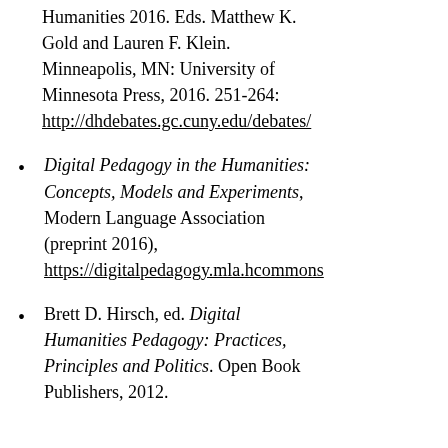Humanities 2016. Eds. Matthew K. Gold and Lauren F. Klein. Minneapolis, MN: University of Minnesota Press, 2016. 251-264: http://dhdebates.gc.cuny.edu/debates/
Digital Pedagogy in the Humanities: Concepts, Models and Experiments, Modern Language Association (preprint 2016), https://digitalpedagogy.mla.hcommons
Brett D. Hirsch, ed. Digital Humanities Pedagogy: Practices, Principles and Politics. Open Book Publishers, 2012.